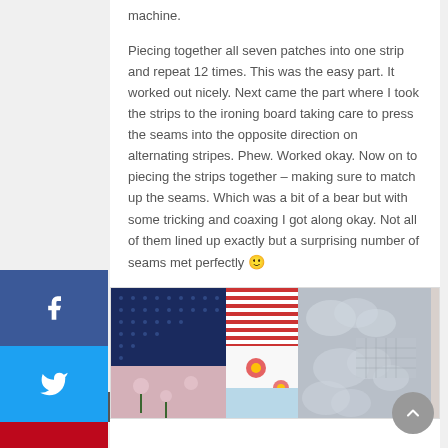machine.
Piecing together all seven patches into one strip and repeat 12 times. This was the easy part. It worked out nicely. Next came the part where I took the strips to the ironing board taking care to press the seams into the opposite direction on alternating stripes. Phew. Worked okay. Now on to piecing the strips together – making sure to match up the seams. Which was a bit of a bear but with some tricking and coaxing I got along okay. Not all of them lined up exactly but a surprising number of seams met perfectly 🙂
[Figure (photo): Close-up of quilt patches showing different fabric patterns including navy blue with floral print, red and white stripes, red floral on white, light blue fabric, and gray floral fabric.]